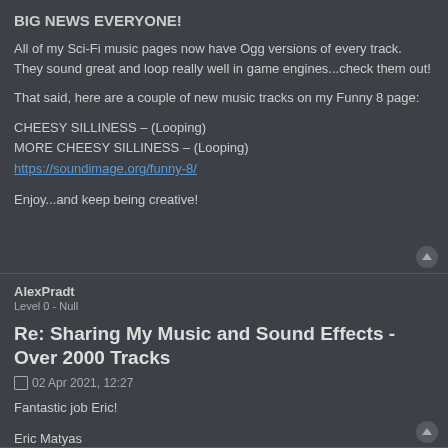BIG NEWS EVERYONE!
All of my Sci-Fi music pages now have Ogg versions of every track. They sound great and loop really well in game engines...check them out!
That said, here are a couple of new music tracks on my Funny 8 page:
CHEESY SILLINESS – (Looping)
MORE CHEESY SILLINESS – (Looping)
https://soundimage.org/funny-8/
Enjoy...and keep being creative!
AlexPradt
Level 0 - Null
Re: Sharing My Music and Sound Effects - Over 2000 Tracks
02 Apr 2021, 12:27
Fantastic job Eric!
Eric Matyas